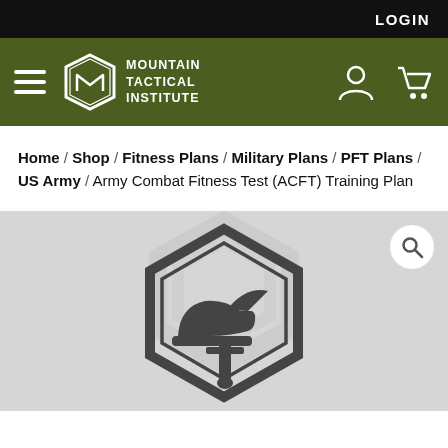LOGIN
[Figure (logo): Mountain Tactical Institute logo with hamburger menu, MTI hexagon logo, account and cart icons on dark olive green navigation bar]
Home / Shop / Fitness Plans / Military Plans / PFT Plans / US Army / Army Combat Fitness Test (ACFT) Training Plan
[Figure (illustration): Product image with light gray background showing a dark hexagon badge containing a running shoe with wings and a dagger/sword icon. A magnifying glass search button is in the top right corner.]